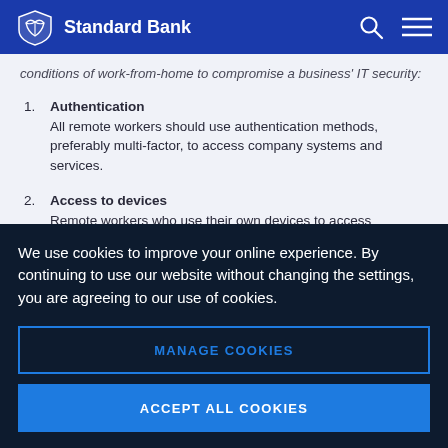Standard Bank
conditions of work-from-home to compromise a business' IT security:
1. Authentication
All remote workers should use authentication methods, preferably multi-factor, to access company systems and services.
2. Access to devices
Remote workers who use their own devices to access business systems must have security features such as a password, PIN or
We use cookies to improve your online experience. By continuing to use our website without changing the settings, you are agreeing to our use of cookies.
MANAGE COOKIES
ACCEPT ALL COOKIES